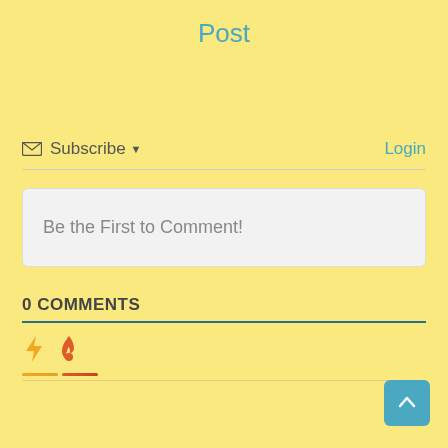Post
Subscribe ▾
Login
Be the First to Comment!
0 COMMENTS
[Figure (other): Two icon tabs: lightning bolt (yellow/orange) and fire (red-orange), each with a colored underline indicator beneath them, separated by a horizontal divider line.]